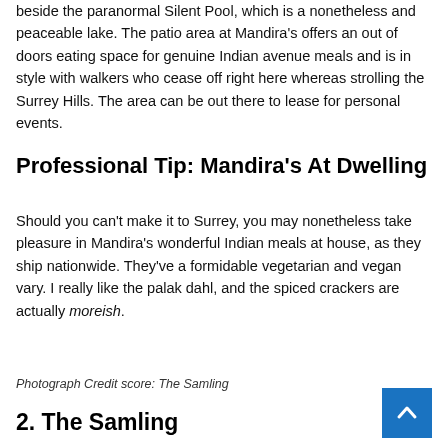beside the paranormal Silent Pool, which is a nonetheless and peaceable lake. The patio area at Mandira's offers an out of doors eating space for genuine Indian avenue meals and is in style with walkers who cease off right here whereas strolling the Surrey Hills. The area can be out there to lease for personal events.
Professional Tip: Mandira's At Dwelling
Should you can't make it to Surrey, you may nonetheless take pleasure in Mandira's wonderful Indian meals at house, as they ship nationwide. They've a formidable vegetarian and vegan vary. I really like the palak dahl, and the spiced crackers are actually moreish.
Photograph Credit score: The Samling
2. The Samling